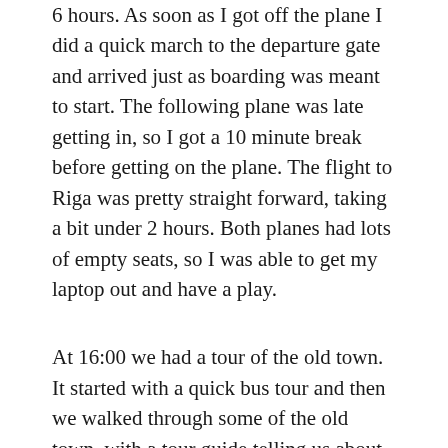6 hours. As soon as I got off the plane I did a quick march to the departure gate and arrived just as boarding was meant to start. The following plane was late getting in, so I got a 10 minute break before getting on the plane. The flight to Riga was pretty straight forward, taking a bit under 2 hours. Both planes had lots of empty seats, so I was able to get my laptop out and have a play.
At 16:00 we had a tour of the old town. It started with a quick bus tour and then we walked through some of the old town, with a tour guide telling us about a few of the key places. I really like the look of Riga. I took a few photos, which will be available here when I get to upload them.